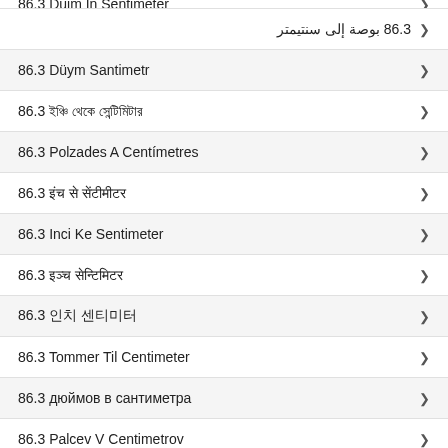86.3 بوصة إلى سنتيمتر
86.3 Düym Santimetr
86.3 ইঞ্চি থেকে সেন্টিমিটার
86.3 Polzades A Centímetres
86.3 इंच से सेंटीमीटर
86.3 Inci Ke Sentimeter
86.3 इञ्च सेन्टिमिटर
86.3 인치 센티미터
86.3 Tommer Til Centimeter
86.3 дюймов в сантиметра
86.3 Palcev V Centimetrov
86.3 Inç Në Centimetra